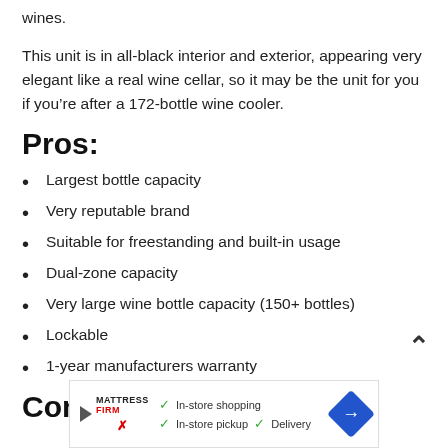wines.
This unit is in all-black interior and exterior, appearing very elegant like a real wine cellar, so it may be the unit for you if you’re after a 172-bottle wine cooler.
Pros:
Largest bottle capacity
Very reputable brand
Suitable for freestanding and built-in usage
Dual-zone capacity
Very large wine bottle capacity (150+ bottles)
Lockable
1-year manufacturers warranty
Cons:
[Figure (other): Advertisement banner for Mattress Firm showing in-store shopping, in-store pickup, and delivery options with a blue direction arrow icon.]